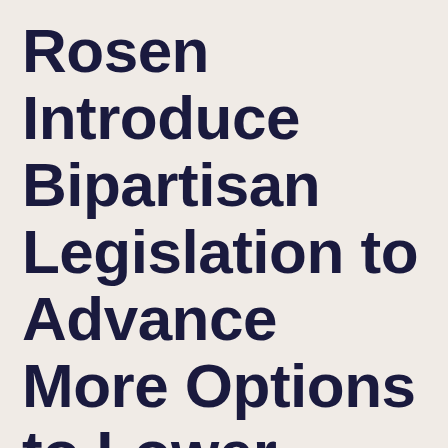Rosen Introduce Bipartisan Legislation to Advance More Options to Lower Drug Prices